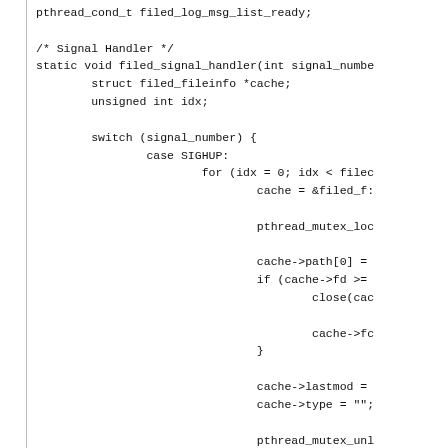pthread_cond_t filed_log_msg_list_ready;

/* Signal Handler */
static void filed_signal_handler(int signal_numbe
        struct filed_fileinfo *cache;
        unsigned int idx;

        switch (signal_number) {
                case SIGHUP:
                        for (idx = 0; idx < filec
                                cache = &filed_f:

                                pthread_mutex_loc

                                cache->path[0] =
                                if (cache->fd >=
                                        close(cac

                                        cache->fc
                                }

                                cache->lastmod =
                                cache->type = "";

                                pthread_mutex_unl
                        }
                        break;
        }

        return;
}

/* Initialize cache */